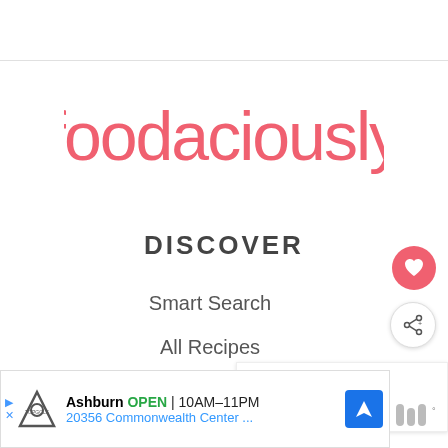[Figure (logo): Foodaciously logo in coral/salmon red color with stylized circular dot on the letter i]
DISCOVER
Smart Search
All Recipes
Recipe Categories
[Figure (infographic): What's Next panel showing a hemp seed food image with text 'WHAT'S NEXT → High-Protein Hemp Seed...']
Ashburn OPEN 10AM–11PM 20356 Commonwealth Center ...